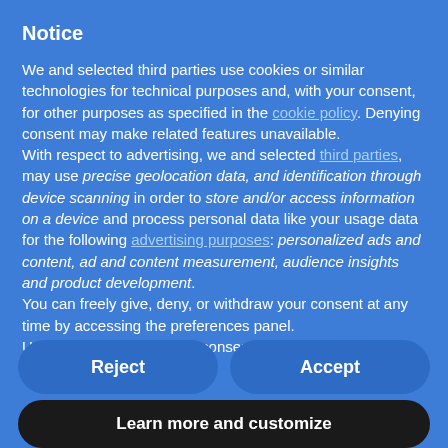Notice
We and selected third parties use cookies or similar technologies for technical purposes and, with your consent, for other purposes as specified in the cookie policy. Denying consent may make related features unavailable.
With respect to advertising, we and selected third parties, may use precise geolocation data, and identification through device scanning in order to store and/or access information on a device and process personal data like your usage data for the following advertising purposes: personalized ads and content, ad and content measurement, audience insights and product development.
You can freely give, deny, or withdraw your consent at any time by accessing the preferences panel.
Use the "Accept" button to consent to the use of such
Reject
Accept
Learn more and customize